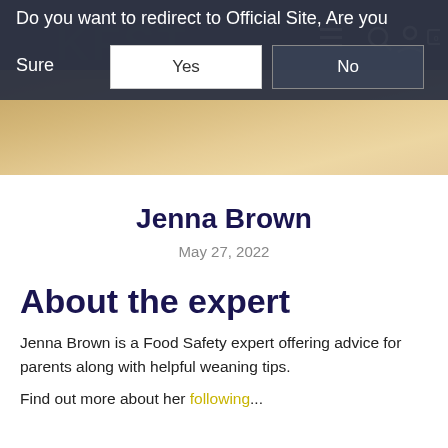[Figure (screenshot): Website navigation bar with dark background showing a redirect dialog popup. Dialog reads 'Do you want to redirect to Official Site, Are you Sure' with 'Yes' (white button) and 'No' (dark button) options.]
Jenna Brown
May 27, 2022
About the expert
Jenna Brown is a Food Safety expert offering advice for parents along with helpful weaning tips.
Find out more about her following...